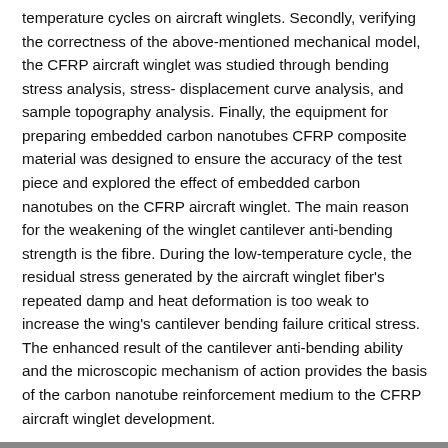temperature cycles on aircraft winglets. Secondly, verifying the correctness of the above-mentioned mechanical model, the CFRP aircraft winglet was studied through bending stress analysis, stress- displacement curve analysis, and sample topography analysis. Finally, the equipment for preparing embedded carbon nanotubes CFRP composite material was designed to ensure the accuracy of the test piece and explored the effect of embedded carbon nanotubes on the CFRP aircraft winglet. The main reason for the weakening of the winglet cantilever anti-bending strength is the fibre. During the low-temperature cycle, the residual stress generated by the aircraft winglet fiber's repeated damp and heat deformation is too weak to increase the wing's cantilever bending failure critical stress. The enhanced result of the cantilever anti-bending ability and the microscopic mechanism of action provides the basis of the carbon nanotube reinforcement medium to the CFRP aircraft winglet development.